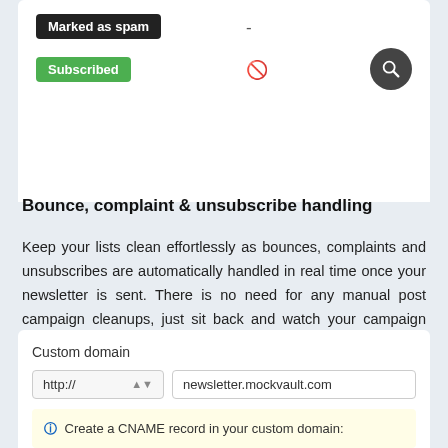[Figure (screenshot): UI showing tags: 'Marked as spam' (dark button) with a dash, 'Subscribed' (green button) with a no-entry icon, and a search button]
Bounce, complaint & unsubscribe handling
Keep your lists clean effortlessly as bounces, complaints and unsubscribes are automatically handled in real time once your newsletter is sent. There is no need for any manual post campaign cleanups, just sit back and watch your campaign report unfold.
[Figure (screenshot): Custom domain input section with http:// selector and newsletter.mockvault.com text field, plus info box: Create a CNAME record in your custom domain:]